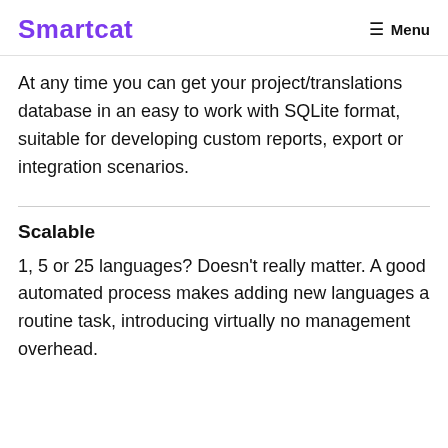Smartcat   Menu
At any time you can get your project/translations database in an easy to work with SQLite format, suitable for developing custom reports, export or integration scenarios.
Scalable
1, 5 or 25 languages? Doesn't really matter. A good automated process makes adding new languages a routine task, introducing virtually no management overhead.